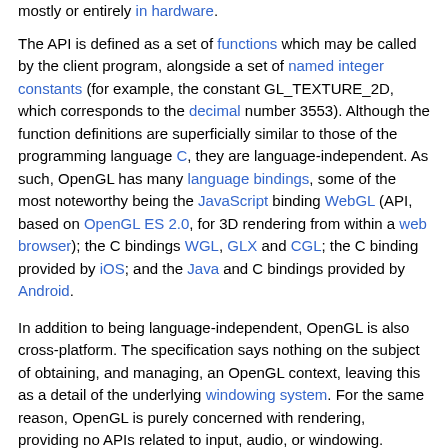mostly or entirely in hardware.
The API is defined as a set of functions which may be called by the client program, alongside a set of named integer constants (for example, the constant GL_TEXTURE_2D, which corresponds to the decimal number 3553). Although the function definitions are superficially similar to those of the programming language C, they are language-independent. As such, OpenGL has many language bindings, some of the most noteworthy being the JavaScript binding WebGL (API, based on OpenGL ES 2.0, for 3D rendering from within a web browser); the C bindings WGL, GLX and CGL; the C binding provided by iOS; and the Java and C bindings provided by Android.
In addition to being language-independent, OpenGL is also cross-platform. The specification says nothing on the subject of obtaining, and managing, an OpenGL context, leaving this as a detail of the underlying windowing system. For the same reason, OpenGL is purely concerned with rendering, providing no APIs related to input, audio, or windowing.
Development